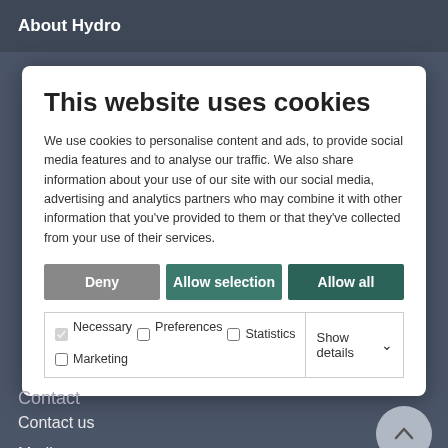About Hydro
This website uses cookies
We use cookies to personalise content and ads, to provide social media features and to analyse our traffic. We also share information about your use of our site with our social media, advertising and analytics partners who may combine it with other information that you've provided to them or that they've collected from your use of their services.
Deny | Allow selection | Allow all
| ✓ Necessary | ☐ Preferences | ☐ Statistics | Show details ∨ |
| ☐ Marketing |  |  |  |
Contact
Contact us
Media contacts
Investor Contacts